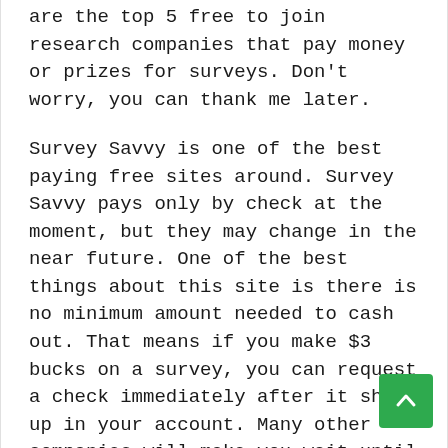are the top 5 free to join research companies that pay money or prizes for surveys. Don't worry, you can thank me later.
Survey Savvy is one of the best paying free sites around. Survey Savvy pays only by check at the moment, but they may change in the near future. One of the best things about this site is there is no minimum amount needed to cash out. That means if you make $3 bucks on a survey, you can request a check immediately after it shows up in your account. Many other companies will make you wait until you have made a certain amount before being able to be paid.